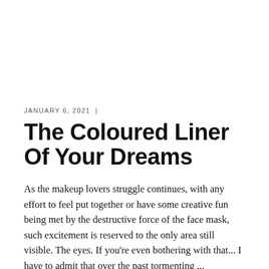JANUARY 6, 2021  |
The Coloured Liner Of Your Dreams
As the makeup lovers struggle continues, with any effort to feel put together or have some creative fun being met by the destructive force of the face mask, such excitement is reserved to the only area still visible. The eyes. If you're even bothering with that... I have to admit that over the past tormenting ...
CONTINUE READING